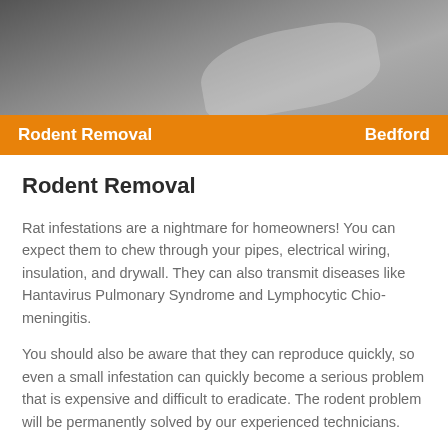[Figure (photo): Dark gray background photo, likely showing a wall or surface, partially obscured, with lighter gray tones suggesting building material or attic space.]
Rodent Removal    Bedford
Rodent Removal
Rat infestations are a nightmare for homeowners! You can expect them to chew through your pipes, electrical wiring, insulation, and drywall. They can also transmit diseases like Hantavirus Pulmonary Syndrome and Lymphocytic Chio-meningitis.
You should also be aware that they can reproduce quickly, so even a small infestation can quickly become a serious problem that is expensive and difficult to eradicate. The rodent problem will be permanently solved by our experienced technicians.